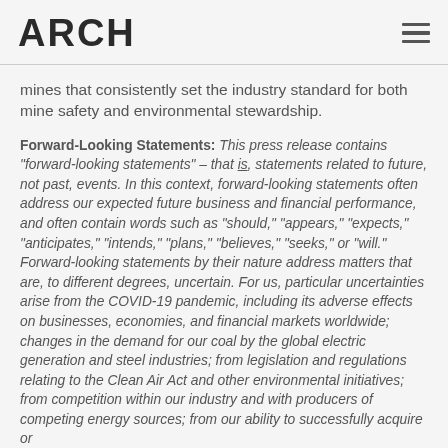ARCH
mines that consistently set the industry standard for both mine safety and environmental stewardship.
Forward-Looking Statements: This press release contains "forward-looking statements" – that is, statements related to future, not past, events. In this context, forward-looking statements often address our expected future business and financial performance, and often contain words such as "should," "appears," "expects," "anticipates," "intends," "plans," "believes," "seeks," or "will." Forward-looking statements by their nature address matters that are, to different degrees, uncertain. For us, particular uncertainties arise from the COVID-19 pandemic, including its adverse effects on businesses, economies, and financial markets worldwide; changes in the demand for our coal by the global electric generation and steel industries; from legislation and regulations relating to the Clean Air Act and other environmental initiatives; from competition within our industry and with producers of competing energy sources; from our ability to successfully acquire or